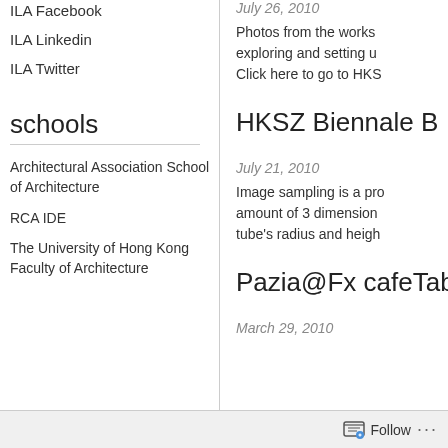ILA Facebook
ILA Linkedin
ILA Twitter
schools
Architectural Association School of Architecture
RCA IDE
The University of Hong Kong Faculty of Architecture
July 26, 2010
Photos from the works exploring and setting u Click here to go to HKS
HKSZ Biennale B
July 21, 2010
Image sampling is a pro amount of 3 dimension tube's radius and heigh
Pazia@Fx cafeTab
March 29, 2010
Follow ...